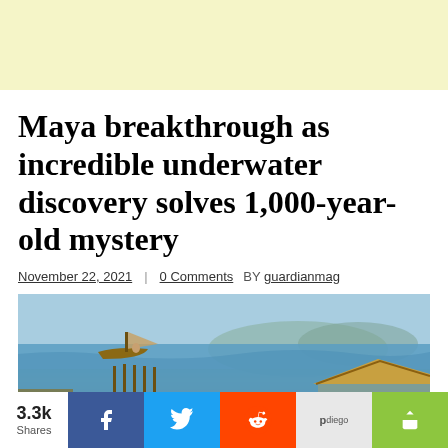[Figure (other): Light yellow advertisement banner at top of page]
Maya breakthrough as incredible underwater discovery solves 1,000-year-old mystery
November 22, 2021  |  0 Comments  BY guardianmag
[Figure (illustration): Illustration of ancient Maya coastal scene showing people on a beach with boats on water, thatched huts, and mountains in the background]
3.3k Shares — social sharing bar with Facebook, Twitter, Reddit, Pinterest, and more options